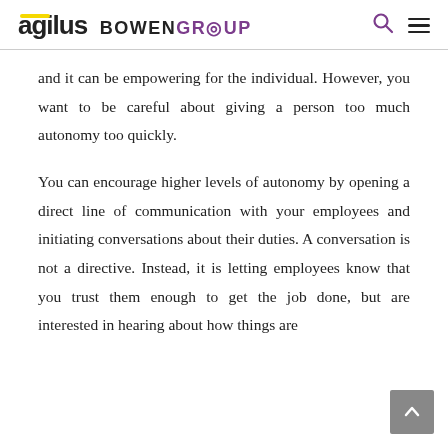agilus BOWENGROUP
and it can be empowering for the individual. However, you want to be careful about giving a person too much autonomy too quickly.
You can encourage higher levels of autonomy by opening a direct line of communication with your employees and initiating conversations about their duties. A conversation is not a directive. Instead, it is letting employees know that you trust them enough to get the job done, but are interested in hearing about how things are